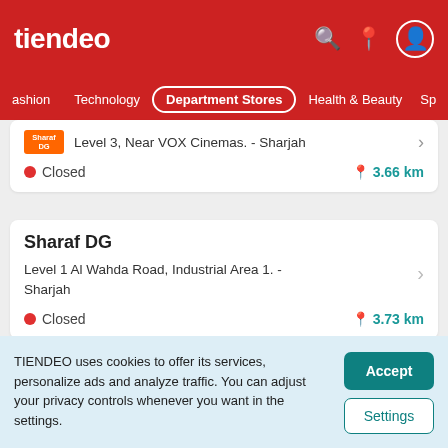tiendeo
Fashion  Technology  Department Stores  Health & Beauty  Sp
Level 3, Near VOX Cinemas. - Sharjah
Closed  3.66 km
Sharaf DG
Level 1 Al Wahda Road, Industrial Area 1. - Sharjah
Closed  3.73 km
Sharaf DG
TIENDEO uses cookies to offer its services, personalize ads and analyze traffic. You can adjust your privacy controls whenever you want in the settings.